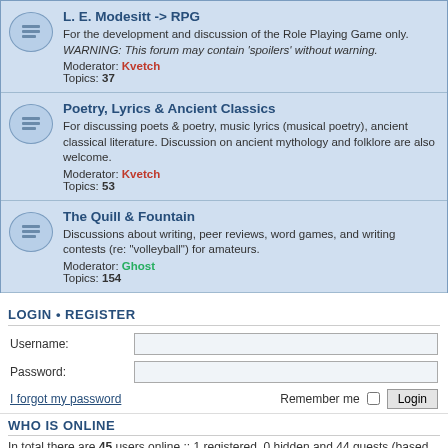L. E. Modesitt -> RPG
For the development and discussion of the Role Playing Game only. WARNING: This forum may contain 'spoilers' without warning. Moderator: Kvetch Topics: 37
Poetry, Lyrics & Ancient Classics
For discussing poets & poetry, music lyrics (musical poetry), ancient classical literature. Discussion on ancient mythology and folklore are also welcome. Moderator: Kvetch Topics: 53
The Quill & Fountain
Discussions about writing, peer reviews, word games, and writing contests (re: "volleyball") for amateurs. Moderator: Ghost Topics: 154
LOGIN • REGISTER
Username:
Password:
I forgot my password
Remember me  Login
WHO IS ONLINE
In total there are 45 users online :: 1 registered, 0 hidden and 44 guests (based on users active over the past 5 minutes)
Most users ever online was 676 on Sun May 10, 2020 12:48 pm
STATISTICS